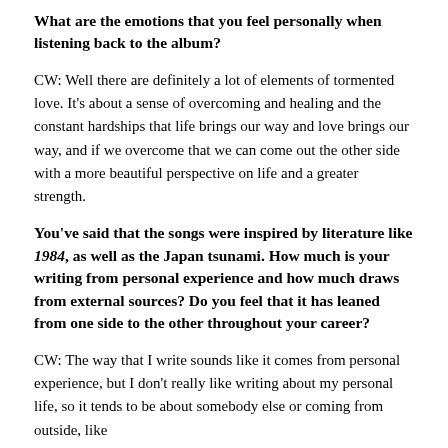What are the emotions that you feel personally when listening back to the album?
CW: Well there are definitely a lot of elements of tormented love. It’s about a sense of overcoming and healing and the constant hardships that life brings our way and love brings our way, and if we overcome that we can come out the other side with a more beautiful perspective on life and a greater strength.
You’ve said that the songs were inspired by literature like 1984, as well as the Japan tsunami. How much is your writing from personal experience and how much draws from external sources? Do you feel that it has leaned from one side to the other throughout your career?
CW: The way that I write sounds like it comes from personal experience, but I don’t really like writing about my personal life, so it tends to be about somebody else or coming from outside, like